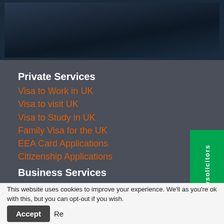[Figure (photo): Dark photo of a person in a suit, partially visible at the top of the page]
Private Services
Visa to Work in UK
Visa to visit UK
Visa to Study in UK
Family Visa for the UK
EEA Card Applications
Citizenship Applications
Business Services
Sponsorship Licenses
Work Visas
Huddersfield Office
Unit 2, 64-66 John William Street
This website uses cookies to improve your experience. We'll as you're ok with this, but you can opt-out if you wish.